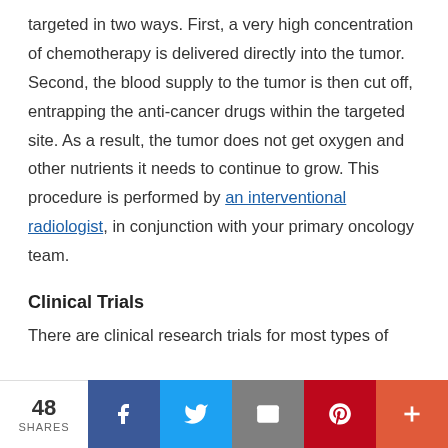targeted in two ways. First, a very high concentration of chemotherapy is delivered directly into the tumor. Second, the blood supply to the tumor is then cut off, entrapping the anti-cancer drugs within the targeted site. As a result, the tumor does not get oxygen and other nutrients it needs to continue to grow. This procedure is performed by an interventional radiologist, in conjunction with your primary oncology team.
Clinical Trials
There are clinical research trials for most types of
48 SHARES  [Facebook] [Twitter] [Email] [Pinterest] [+]